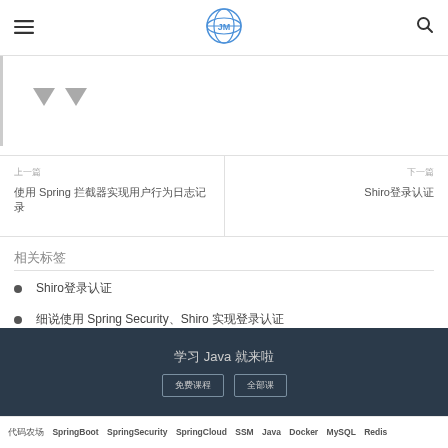≡  [logo]  🔍
[Figure (screenshot): Arrow UI element area with two downward-pointing gray triangles on a white background with left border]
上一篇
使用 Spring 拦截器实现用户行为日志记录
下一篇
Shiro登录认证
相关标签
Shiro登录认证
细说使用 Spring Security、Shiro 实现登录认证
学习 Java 就来啦
代码农场  SpringBoot  SpringSecurity  SpringCloud  SSM  Java  Docker  MySQL  Redis